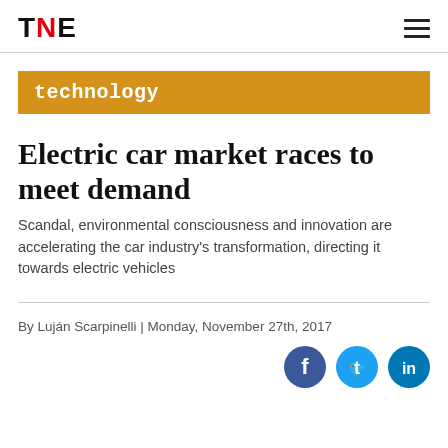TNE
technology
Electric car market races to meet demand
Scandal, environmental consciousness and innovation are accelerating the car industry's transformation, directing it towards electric vehicles
By Luján Scarpinelli | Monday, November 27th, 2017